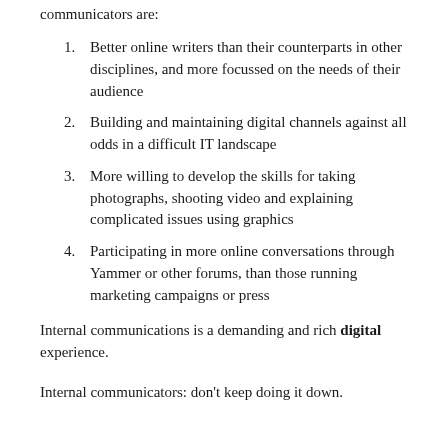communicators are:
Better online writers than their counterparts in other disciplines, and more focussed on the needs of their audience
Building and maintaining digital channels against all odds in a difficult IT landscape
More willing to develop the skills for taking photographs, shooting video and explaining complicated issues using graphics
Participating in more online conversations through Yammer or other forums, than those running marketing campaigns or press
Internal communications is a demanding and rich digital experience.
Internal communicators: don’t keep doing it down.